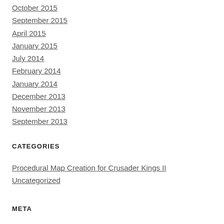October 2015
September 2015
April 2015
January 2015
July 2014
February 2014
January 2014
December 2013
November 2013
September 2013
CATEGORIES
Procedural Map Creation for Crusader Kings II
Uncategorized
META